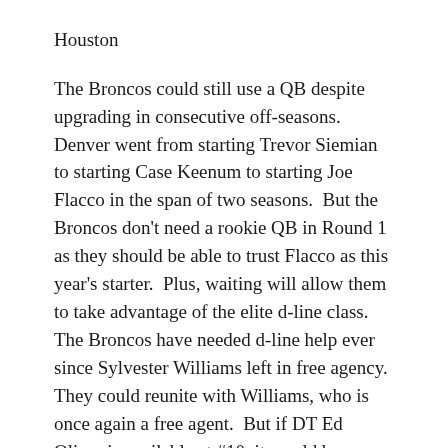Houston
The Broncos could still use a QB despite upgrading in consecutive off-seasons.  Denver went from starting Trevor Siemian to starting Case Keenum to starting Joe Flacco in the span of two seasons.  But the Broncos don't need a rookie QB in Round 1 as they should be able to trust Flacco as this year's starter.  Plus, waiting will allow them to take advantage of the elite d-line class.  The Broncos have needed d-line help ever since Sylvester Williams left in free agency.  They could reunite with Williams, who is once again a free agent.  But if DT Ed Oliver is available at #10, it would be a no-brainer for Denver to take him.  In general, I feel that